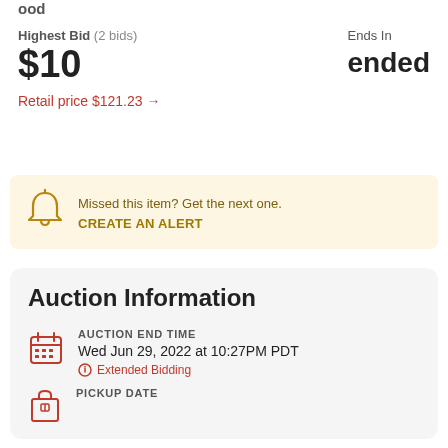ood
Highest Bid (2 bids)
$10
Ends In
ended
Retail price $121.23 →
Missed this item? Get the next one. CREATE AN ALERT
Auction Information
AUCTION END TIME
Wed Jun 29, 2022 at 10:27PM PDT
Extended Bidding
PICKUP DATE